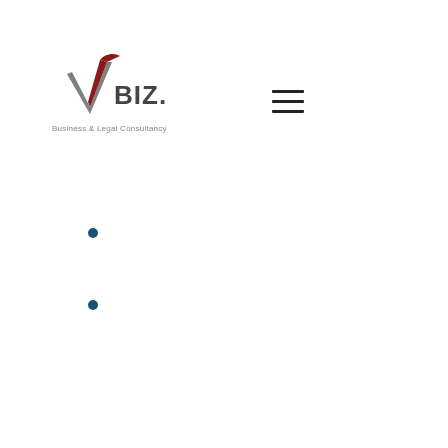[Figure (logo): VBIZ Business & Legal Consultancy logo with checkmark graphic in grey and red, with 'BIZ.' text and tagline 'Business & Legal Consultancy']
[Figure (other): Hamburger menu icon with three horizontal lines]